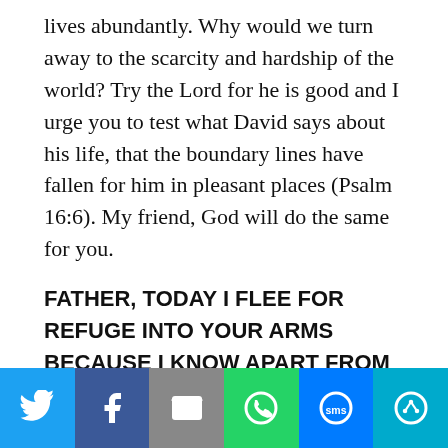lives abundantly. Why would we turn away to the scarcity and hardship of the world? Try the Lord for he is good and I urge you to test what David says about his life, that the boundary lines have fallen for him in pleasant places (Psalm 16:6). My friend, God will do the same for you.
FATHER, TODAY I FLEE FOR REFUGE INTO YOUR ARMS BECAUSE I KNOW APART FROM YOU I HAVE NO GOOD THING.
Article source: Mike White @ Summit church of Christ
[Figure (infographic): Social media share bar with six buttons: Twitter (blue), Facebook (dark blue), Email (gray), WhatsApp (green), SMS (blue), More (cyan)]